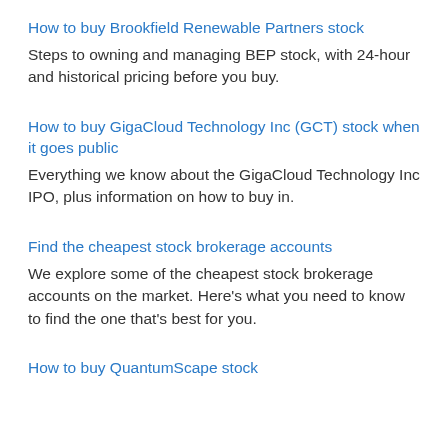How to buy Brookfield Renewable Partners stock
Steps to owning and managing BEP stock, with 24-hour and historical pricing before you buy.
How to buy GigaCloud Technology Inc (GCT) stock when it goes public
Everything we know about the GigaCloud Technology Inc IPO, plus information on how to buy in.
Find the cheapest stock brokerage accounts
We explore some of the cheapest stock brokerage accounts on the market. Here's what you need to know to find the one that's best for you.
How to buy QuantumScape stock